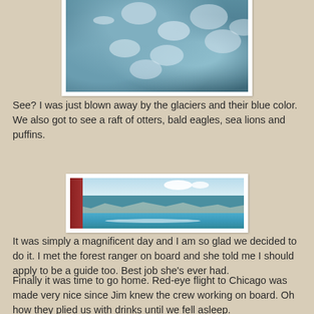[Figure (photo): Aerial or close-up photo of glacier water with floating ice chunks, dark teal-blue water]
See? I was just blown away by the glaciers and their blue color. We also got to see a raft of otters, bald eagles, sea lions and puffins.
[Figure (photo): Panoramic photo taken from a boat showing turquoise glacier water, mountains in background, blue sky with clouds, boat wake visible]
It was simply a magnificent day and I am so glad we decided to do it. I met the forest ranger on board and she told me I should apply to be a guide too. Best job she's ever had.
Finally it was time to go home. Red-eye flight to Chicago was made very nice since Jim knew the crew working on board. Oh how they plied us with drinks until we fell asleep.